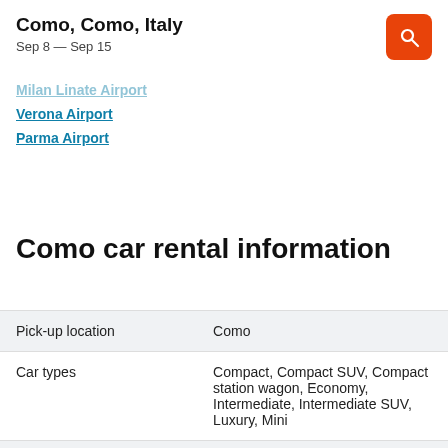Como, Como, Italy
Sep 8 — Sep 15
Milan Linate Airport
Verona Airport
Parma Airport
Como car rental information
|  |  |
| --- | --- |
| Pick-up location | Como |
| Car types | Compact, Compact SUV, Compact station wagon, Economy, Intermediate, Intermediate SUV, Luxury, Mini |
| Rental locations | 15 |